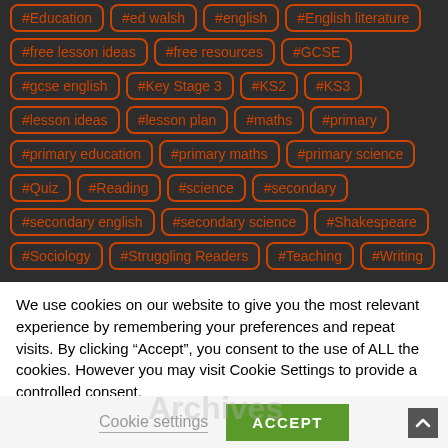#Education
#ed walsh
#english
#English literature
#free lesson ideas
#free resources
#GCSE
#gcse english
#Key Stage 3
#KS2
#KS3
#lesson ideas
#lesson plan
#maths
#primary
#primary education
#primary maths
#primary science
#Quiz
#Reading
#science
#secondary
#secondary english
#secondary science
#Shakespeare
#Sociology
#Struggling Readers
#Teaching
#Writing
We use cookies on our website to give you the most relevant experience by remembering your preferences and repeat visits. By clicking “Accept”, you consent to the use of ALL the cookies. However you may visit Cookie Settings to provide a controlled consent.
Cookie settings
ACCEPT